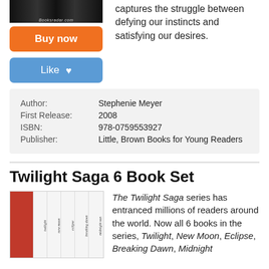[Figure (photo): Book covers image with Booksradar.com watermark at top left]
[Figure (other): Orange Buy now button]
[Figure (other): Blue Like button with heart icon]
captures the struggle between defying our instincts and satisfying our desires.
| Author: | Stephenie Meyer |
| First Release: | 2008 |
| ISBN: | 978-0759553927 |
| Publisher: | Little, Brown Books for Young Readers |
Twilight Saga 6 Book Set
[Figure (photo): Twilight Saga 6 Book Set image showing book spines: twilight, new moon, eclipse, breaking dawn, midnight sun]
The Twilight Saga series has entranced millions of readers around the world. Now all 6 books in the series, Twilight, New Moon, Eclipse, Breaking Dawn, Midnight...